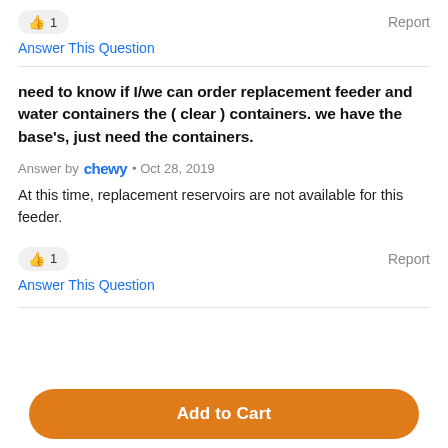👍 1   Report
Answer This Question
need to know if I/we can order replacement feeder and water containers the ( clear ) containers. we have the base's, just need the containers.
Answer by chewy • Oct 28, 2019
At this time, replacement reservoirs are not available for this feeder.
👍 1   Report
Answer This Question
Add to Cart